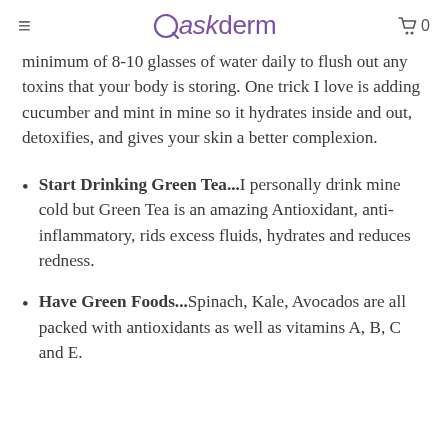Askderm
minimum of 8-10 glasses of water daily to flush out any toxins that your body is storing. One trick I love is adding cucumber and mint in mine so it hydrates inside and out, detoxifies, and gives your skin a better complexion.
Start Drinking Green Tea...I personally drink mine cold but Green Tea is an amazing Antioxidant, anti-inflammatory, rids excess fluids, hydrates and reduces redness.
Have Green Foods...Spinach, Kale, Avocados are all packed with antioxidants as well as vitamins A, B, C and E.